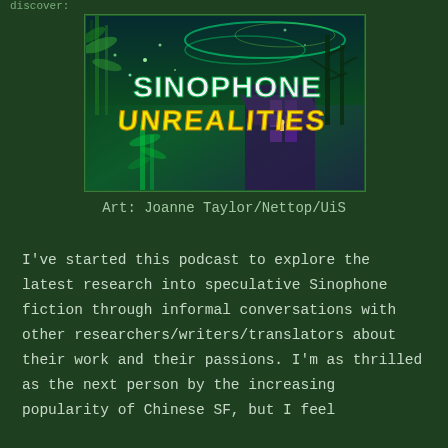discover:
[Figure (illustration): Sinophone Unrealities podcast cover art — stylized graphic with neon green and yellow lettering reading 'SINOPHONE UNREALITIES' over a dark green atmospheric background with bamboo, trees, and futuristic cityscape elements.]
Art: Joanne Taylor/Nettop/UiS
I've started this podcast to explore the latest research into speculative Sinophone fiction through informal conversations with other researchers/writers/translators about their work and their passions. I'm as thrilled as the next person by the increasing popularity of Chinese SF, but I feel